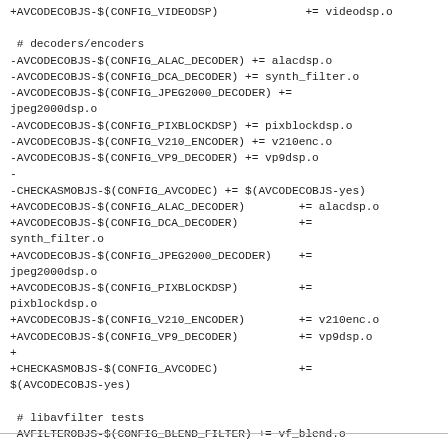+AVCODECOBJS-$(CONFIG_VIDEODSP)             += videodsp.o

 # decoders/encoders
-AVCODECOBJS-$(CONFIG_ALAC_DECODER) += alacdsp.o
-AVCODECOBJS-$(CONFIG_DCA_DECODER) += synth_filter.o
-AVCODECOBJS-$(CONFIG_JPEG2000_DECODER) +=
jpeg2000dsp.o
-AVCODECOBJS-$(CONFIG_PIXBLOCKDSP) += pixblockdsp.o
-AVCODECOBJS-$(CONFIG_V210_ENCODER) += v210enc.o
-AVCODECOBJS-$(CONFIG_VP9_DECODER) += vp9dsp.o
-
-CHECKASMOBJS-$(CONFIG_AVCODEC) += $(AVCODECOBJS-yes)
+AVCODECOBJS-$(CONFIG_ALAC_DECODER)        += alacdsp.o
+AVCODECOBJS-$(CONFIG_DCA_DECODER)         +=
synth_filter.o
+AVCODECOBJS-$(CONFIG_JPEG2000_DECODER)    +=
jpeg2000dsp.o
+AVCODECOBJS-$(CONFIG_PIXBLOCKDSP)         +=
pixblockdsp.o
+AVCODECOBJS-$(CONFIG_V210_ENCODER)        += v210enc.o
+AVCODECOBJS-$(CONFIG_VP9_DECODER)         += vp9dsp.o
+
+CHECKASMOBJS-$(CONFIG_AVCODEC)            +=
$(AVCODECOBJS-yes)

 # libavfilter tests
 AVFILTEROBJS-$(CONFIG_BLEND_FILTER) += vf_blend.o